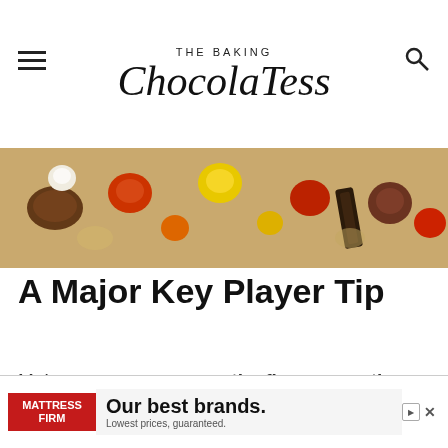THE BAKING ChocolaTess
[Figure (photo): Close-up photo of assorted candy pieces — M&Ms, Reese's Pieces, and chocolate candies scattered on a surface]
A Major Key Player Tip
Make sure you measure the flour correctly to get the perfect texture for soft and thick bars. Adding too much flour make bars, cookies and cakes crun... with
[Figure (other): Mattress Firm advertisement banner: 'Our best brands. Lowest prices, guaranteed.']